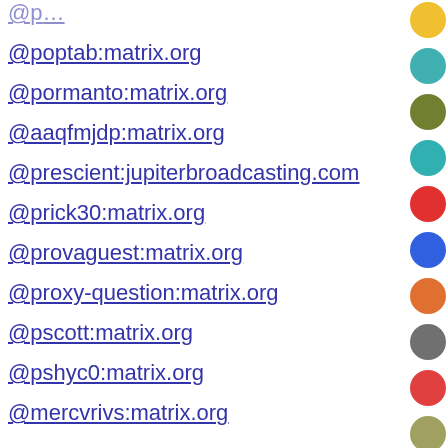@poptab:matrix.org
@pormanto:matrix.org
@aaqfmjdp:matrix.org
@prescient:jupiterbroadcasting.com
@prick30:matrix.org
@provaguest:matrix.org
@proxy-question:matrix.org
@pscott:matrix.org
@pshyc0:matrix.org
@mercvrivs:matrix.org